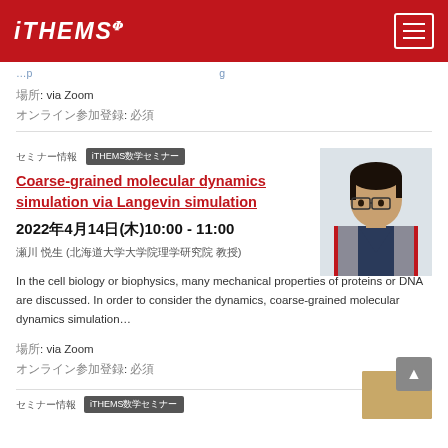iTHEMS
場所: via Zoom
オンライン参加登録: 必須
セミナー情報  iTHEMS数学セミナー
Coarse-grained molecular dynamics simulation via Langevin simulation
2022年4月14日(木)10:00 - 11:00
瀬川 悦生 (北海道大学大学院理学研究院 教授)
In the cell biology or biophysics, many mechanical properties of proteins or DNA are discussed. In order to consider the dynamics, coarse-grained molecular dynamics simulation...
場所: via Zoom
オンライン参加登録: 必須
セミナー情報  iTHEMS数学セミナー